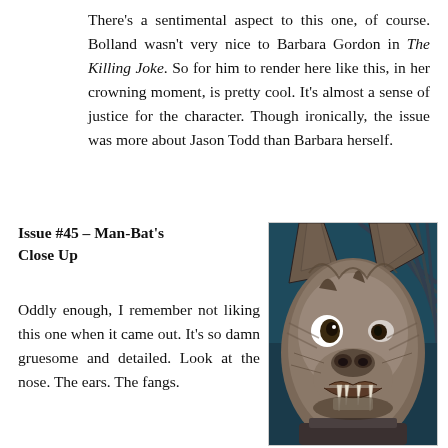There's a sentimental aspect to this one, of course. Bolland wasn't very nice to Barbara Gordon in The Killing Joke. So for him to render here like this, in her crowning moment, is pretty cool. It's almost a sense of justice for the character. Though ironically, the issue was more about Jason Todd than Barbara herself.
Issue #45 – Man-Bat's Close Up
Oddly enough, I remember not liking this one when it came out. It's so damn gruesome and detailed. Look at the nose. The ears. The fangs.
[Figure (illustration): A detailed close-up illustration of Man-Bat, a DC Comics character. The image shows a gruesome bat-like creature face with prominent ears, a flat nose, fangs, and wild eyes. The background is dark teal/blue. The creature has brown/grey fur and striped wing details visible at the top.]